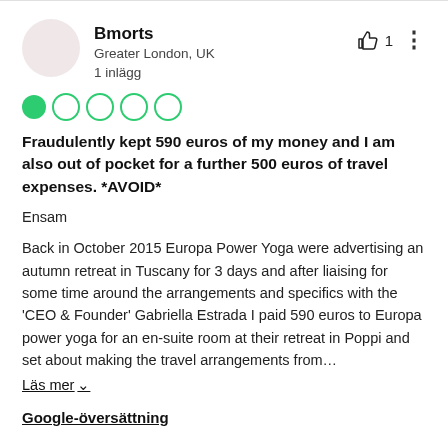Bmorts
Greater London, UK
1 inlägg
[Figure (illustration): One filled green circle and four empty green-outlined circles representing a 1-out-of-5 star rating]
Fraudulently kept 590 euros of my money and I am also out of pocket for a further 500 euros of travel expenses. *AVOID*
Ensam
Back in October 2015 Europa Power Yoga were advertising an autumn retreat in Tuscany for 3 days and after liaising for some time around the arrangements and specifics with the 'CEO & Founder' Gabriella Estrada I paid 590 euros to Europa power yoga for an en-suite room at their retreat in Poppi and set about making the travel arrangements from…
Läs mer ∨
Google-översättning